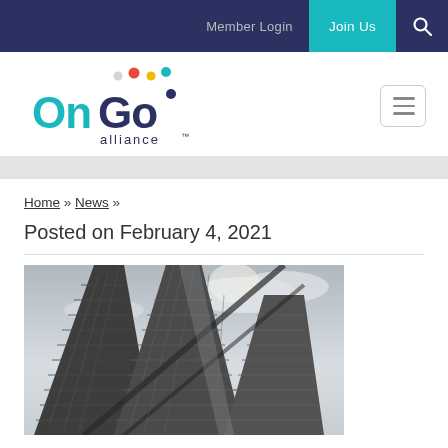Member Login  Join Us
[Figure (logo): OnGo Alliance logo with teal 'On', dark blue 'Go' text and colored dots above, 'alliance' below in dark blue]
Home » News »
Posted on February 4, 2021
[Figure (photo): Black and white photo of modern glass skyscrapers viewed from below looking up, with dramatic sky and clouds]